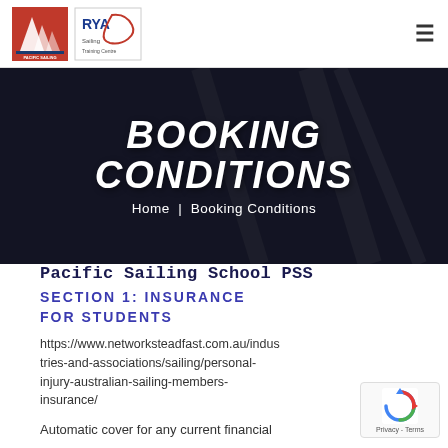Pacific Sailing School | RYA Training Centre navigation header
BOOKING CONDITIONS
Home | Booking Conditions
Pacific Sailing School PSS
SECTION 1: INSURANCE FOR STUDENTS
https://www.networksteadfast.com.au/industries-and-associations/sailing/personal-injury-australian-sailing-members-insurance/
Automatic cover for any current financial member of Australian Sailing...